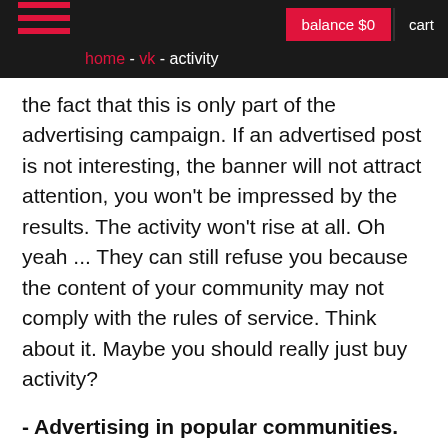home - vk - activity | balance $0 | cart
the fact that this is only part of the advertising campaign. If an advertised post is not interesting, the banner will not attract attention, you won't be impressed by the results. The activity won't rise at all. Oh yeah ... They can still refuse you because the content of your community may not comply with the rules of service. Think about it. Maybe you should really just buy activity?
- Advertising in popular communities. Nothing new here. Opinion leaders, they are the same everywhere. Large communities on VK with a million followers will increase activity in a small public by 15 times in one repost. Ready to give 2-4 thousand for an advertising post on MDK? And if you need to advertise the Fresh Socks cafe-bar group then MDK won't work for purely